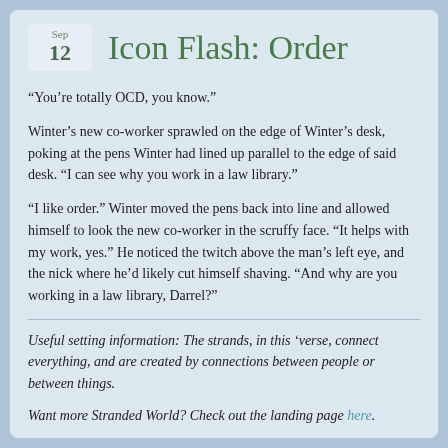Sep 12
Icon Flash: Order
“You’re totally OCD, you know.”
Winter’s new co-worker sprawled on the edge of Winter’s desk, poking at the pens Winter had lined up parallel to the edge of said desk. “I can see why you work in a law library.”
“I like order.” Winter moved the pens back into line and allowed himself to look the new co-worker in the scruffy face. “It helps with my work, yes.” He noticed the twitch above the man’s left eye, and the nick where he’d likely cut himself shaving. “And why are you working in a law library, Darrel?”
Useful setting information: The strands, in this ‘verse, connect everything, and are created by connections between people or between things.
Want more Stranded World? Check out the landing page here.